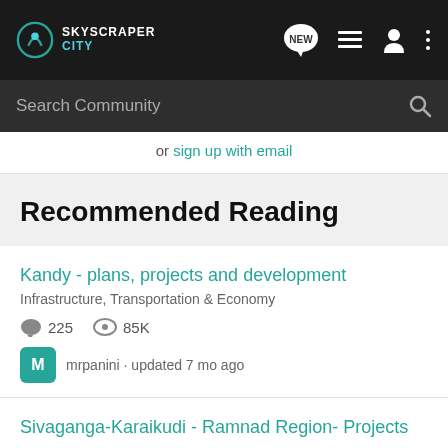SkyscraperCity
Search Community
or sign up with email
Recommended Reading
Kandy - plans, projects and development
Infrastructure, Transportation & Economy
225  85K
mrpanini · updated 7 mo ago
Sivaganga-Karaikudi - Ramnad Region- Projects